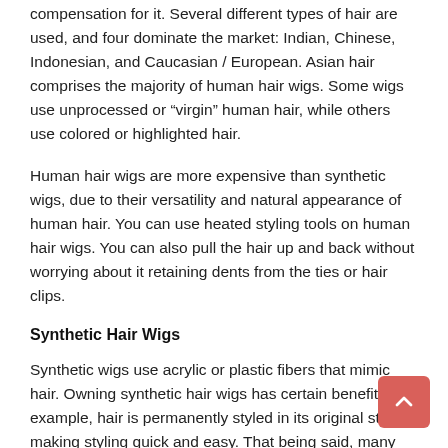compensation for it. Several different types of hair are used, and four dominate the market: Indian, Chinese, Indonesian, and Caucasian / European. Asian hair comprises the majority of human hair wigs. Some wigs use unprocessed or “virgin” human hair, while others use colored or highlighted hair.
Human hair wigs are more expensive than synthetic wigs, due to their versatility and natural appearance of human hair. You can use heated styling tools on human hair wigs. You can also pull the hair up and back without worrying about it retaining dents from the ties or hair clips.
Synthetic Hair Wigs
Synthetic wigs use acrylic or plastic fibers that mimic hair. Owning synthetic hair wigs has certain benefits. For example, hair is permanently styled in its original style, making styling quick and easy. That being said, many synthetic hair wigs on the market today are heat resistant up to a certain temperature, giving you styling options if you want them. Make sure to always check the maximum allowable temperature and never apply excessive heat.